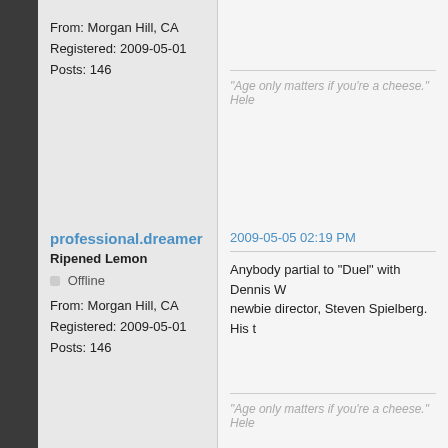From: Morgan Hill, CA
Registered: 2009-05-01
Posts: 146
"Age only matters if you're a cheese." Hele
professional.dreamer
Ripened Lemon
Offline
From: Morgan Hill, CA
Registered: 2009-05-01
Posts: 146
2009-05-05 02:19 PM
Anybody partial to "Duel" with Dennis W... newbie director, Steven Spielberg.  His t
"Age only matters if you're a cheese." Hele
Posts: 15
Pages  1
You must login
The 24 Hours of Lemons Forums → Our Crappy Race → Reno-Fernley Chili & Movie Nights
Our Crappy Race
Go
Powered by P